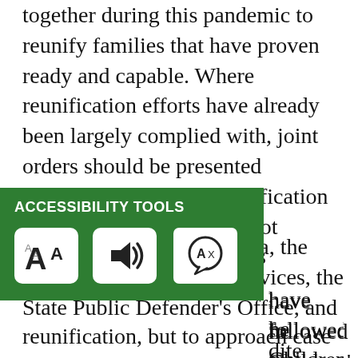together during this pandemic to reunify families that have proven ready and capable. Where reunification efforts have already been largely complied with, joint orders should be presented requesting expedited reunification so that these families are not separated for longer than is necessary.
In other states such as Iowa, the Department of Human Services, the State Public Defender's Office, and [Family Services] have followed [guidance from] the Children's [Bureau to expe]dite reunification, but to approach case
[Figure (other): Accessibility Tools widget with green background showing three icons: font size (A with smaller A), audio/speaker, and language/translate. Label reads ACCESSIBILITY TOOLS.]